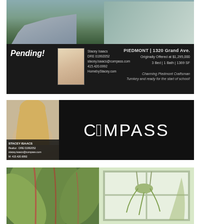[Figure (photo): Real estate listing ad for Pending property at Piedmont 1320 Grand Ave. Top half shows house exterior photo. Bottom half is black with agent info: Stacey Isaacs, DRE 01992052, stacey.isaacs@compass.com, 415.420.6992, HomebyStacey.com. Property: Originally Offered at $1,295,000, 3 Bed | 1 Bath | 1369 SF. Tagline: Charming Piedmont Craftsman, Turnkey and ready for the start of school!]
[Figure (photo): Compass real estate agent business card. Left side shows headshot photo of Stacey Isaacs (blonde woman smiling) with name, Realtor, DRE, email, and mobile number. Right side is solid black with white Compass logo text.]
[Figure (photo): Two plant/nature photos side by side. Left: close-up of large tropical plant leaves (agave or similar) with red/pink accent stripes. Right: interior window scene with hanging plant visible.]